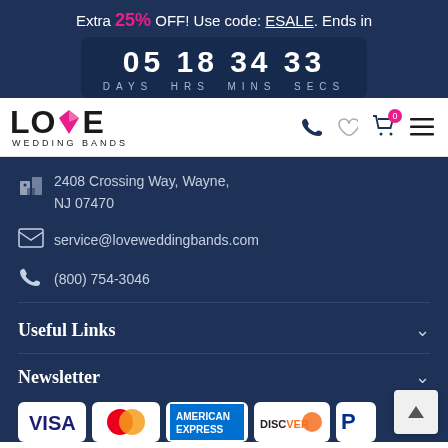Extra 25% OFF! Use code: ESALE. Ends in 05 18 34 33 DAYS HRS MINS SECS
[Figure (logo): Love Wedding Bands logo with pink diamond in the V]
2408 Crossing Way, Wayne, NJ 07470
service@loveweddingbands.com
(800) 754-3046
Useful Links
Newsletter
[Figure (infographic): Payment method logos: VISA, Mastercard, American Express, Discover, PayPal]